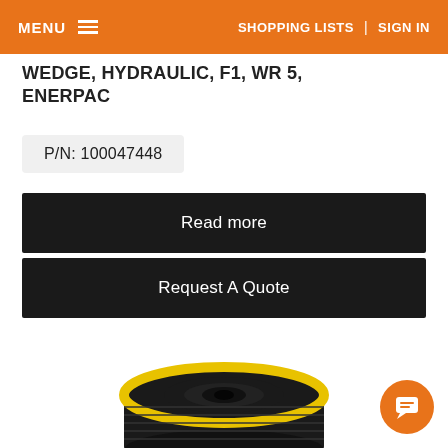MENU  SHOPPING LISTS  |  SIGN IN
WEDGE, HYDRAULIC, F1, WR 5, ENERPAC
P/N: 100047448
Read more
Request A Quote
[Figure (photo): Photo of a black hydraulic wedge component with yellow ring, viewed from above, partially visible at bottom of page]